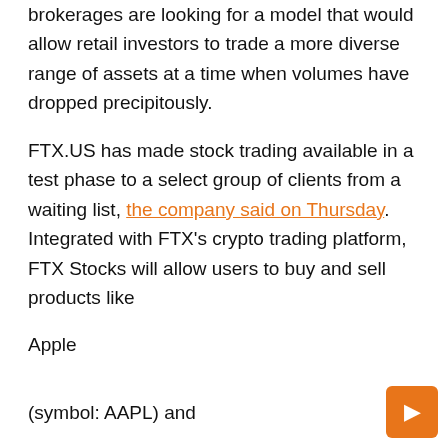brokerages are looking for a model that would allow retail investors to trade a more diverse range of assets at a time when volumes have dropped precipitously.
FTX.US has made stock trading available in a test phase to a select group of clients from a waiting list, the company said on Thursday. Integrated with FTX's crypto trading platform, FTX Stocks will allow users to buy and sell products like
Apple
(symbol: AAPL) and
You're here